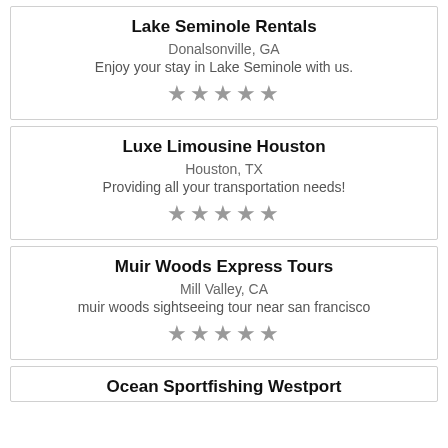Lake Seminole Rentals
Donalsonville, GA
Enjoy your stay in Lake Seminole with us.
[Figure (other): 5 grey stars rating]
Luxe Limousine Houston
Houston, TX
Providing all your transportation needs!
[Figure (other): 5 grey stars rating]
Muir Woods Express Tours
Mill Valley, CA
muir woods sightseeing tour near san francisco
[Figure (other): 5 grey stars rating]
Ocean Sportfishing Westport